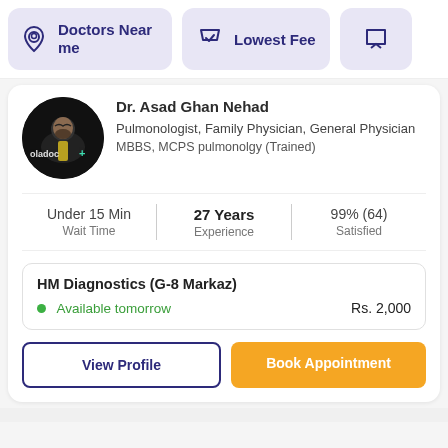Doctors Near me | Lowest Fee
Dr. Asad Ghan Nehad
Pulmonologist, Family Physician, General Physician
MBBS, MCPS pulmonolgy (Trained)
Under 15 Min Wait Time | 27 Years Experience | 99% (64) Satisfied
HM Diagnostics (G-8 Markaz)
Available tomorrow
Rs. 2,000
View Profile
Book Appointment